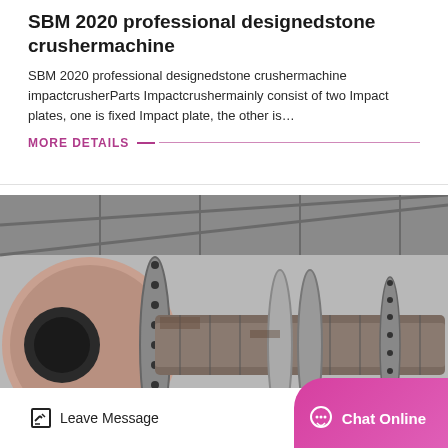SBM 2020 professional designedstone crushermachine
SBM 2020 professional designedstone crushermachine impactcrusherParts Impactcrushermainly consist of two Impact plates, one is fixed Impact plate, the other is…
MORE DETAILS
[Figure (photo): Industrial heavy machinery — a large cylindrical ball mill or grinding drum with flanged bolted connections, photographed inside a factory/warehouse setting. The metal drum is horizontal, showing circular end caps with bolt holes and a connecting shaft assembly.]
Leave Message
Chat Online